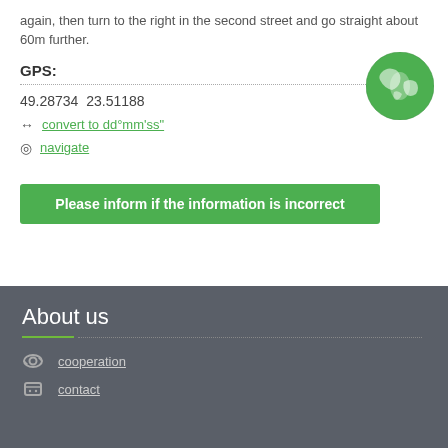again, then turn to the right in the second street and go straight about 60m further.
GPS:
49.28734  23.51188
↔ convert to dd°mm'ss"
navigate
[Figure (illustration): Green globe/earth icon]
Please inform if the information is incorrect
About us
cooperation
contact